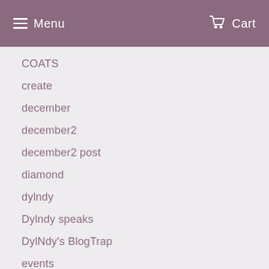Menu   Cart
COATS
create
december
december2
december2 post
diamond
dylndy
Dylndy speaks
DylNdy's BlogTrap
events
feed back
florida tings
hosted events
island vybez
jamaican tings